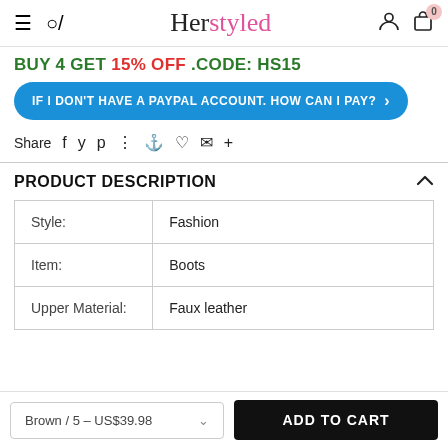Herstyled — navigation header with hamburger, search, logo, user and cart icons
BUY 4 GET 15% OFF .CODE: HS15
IF I DON'T HAVE A PAYPAL ACCOUNT. HOW CAN I PAY?
Share — social share icons: Facebook, Twitter, Pinterest, Grid, Bookmark, Heart, Email, Plus
PRODUCT DESCRIPTION
|  |  |
| --- | --- |
| Style: | Fashion |
| Item: | Boots |
| Upper Material: | Faux leather |
Brown / 5 – US$39.98   ADD TO CART